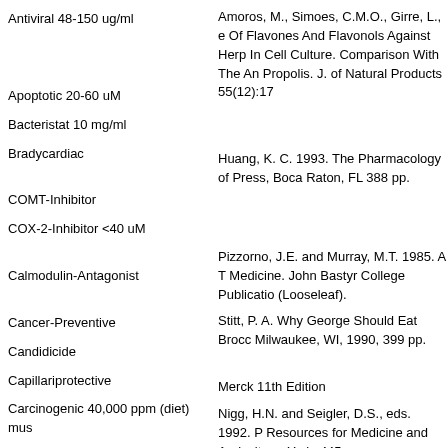Antiviral 48-150 ug/ml
Amoros, M., Simoes, C.M.O., Girre, L., e Of Flavones And Flavonols Against Herp In Cell Culture. Comparison With The An Propolis. J. of Natural Products 55(12):17
Apoptotic 20-60 uM
Bacteristat 10 mg/ml
Bradycardiac
Huang, K. C. 1993. The Pharmacology of Press, Boca Raton, FL 388 pp.
COMT-Inhibitor
COX-2-Inhibitor <40 uM
Pizzorno, J.E. and Murray, M.T. 1985. A T Medicine. John Bastyr College Publicatio (Looseleaf).
Calmodulin-Antagonist
Stitt, P. A. Why George Should Eat Brocc Milwaukee, WI, 1990, 399 pp.
Cancer-Preventive
Candidicide
Capillariprotective
Merck 11th Edition
Carcinogenic 40,000 ppm (diet) mus
Nigg, H.N. and Seigler, D.S., eds. 1992. P Resources for Medicine and Agriculture. York. 445 pp.
Catabolic